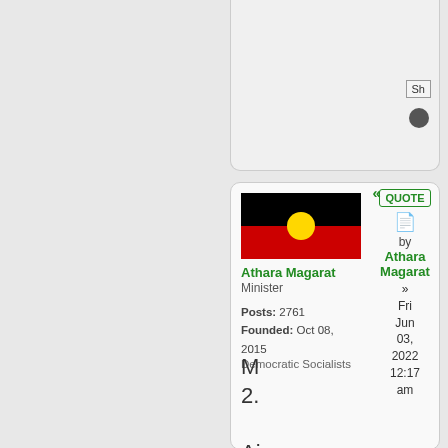[Figure (screenshot): Partial top card with button labeled 'Sh' and a dark circle icon, on light grey background]
[Figure (screenshot): Forum post card showing Australian Aboriginal flag, user info for Athara Magarat (Minister, Posts: 2761, Founded: Oct 08 2015, Democratic Socialists), and post metadata with QUOTE button, posted Fri Jun 03 2022 12:17 am. Post content shows M, 2., Ai, V, Ke, 4]
Athara Magarat
Minister
Posts: 2761
Founded: Oct 08, 2015
Democratic Socialists
by Athara Magarat
» Fri Jun 03, 2022 12:17 am
M
2.

Ai
V
Ke

4